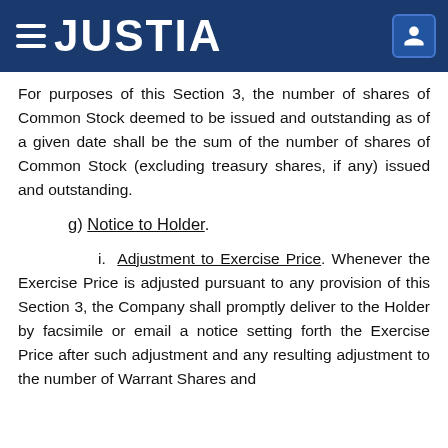JUSTIA
For purposes of this Section 3, the number of shares of Common Stock deemed to be issued and outstanding as of a given date shall be the sum of the number of shares of Common Stock (excluding treasury shares, if any) issued and outstanding.
g) Notice to Holder.
i. Adjustment to Exercise Price. Whenever the Exercise Price is adjusted pursuant to any provision of this Section 3, the Company shall promptly deliver to the Holder by facsimile or email a notice setting forth the Exercise Price after such adjustment and any resulting adjustment to the number of Warrant Shares and